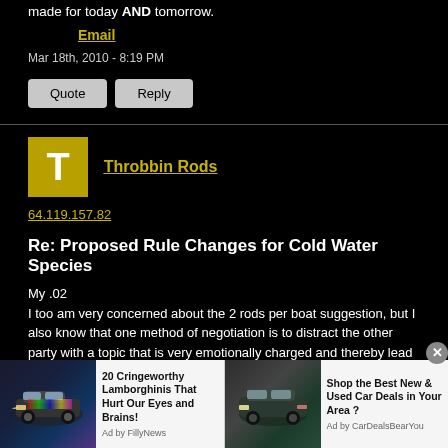made for today AND tomorrow.
Email
Mar 18th, 2010 - 8:19 PM
Quote  Reply
Throbbin Rods
64.119.157.82
Re: Proposed Rule Changes for Cold Water Species
My .02
I too am very concerned about the 2 rods per boat suggestion, but I also know that one method of negotiation is to distract the other party with a topic that is very emotionally charged and thereby lead the person to agree to your original but unstated agenda. We may be all yelling about 2 rods and F&G could say, OK, 5 rods per boat but could do something else that would have even more
[Figure (other): Advertisement: 20 Cringeworthy Lamborghinis That Hurt Our Eyes and Brains! Ad by FillyNews with car image]
[Figure (other): Advertisement: Shop the Best New & Used Car Deals in Your Area? Ad by CarDealsBearYou with SUV image]